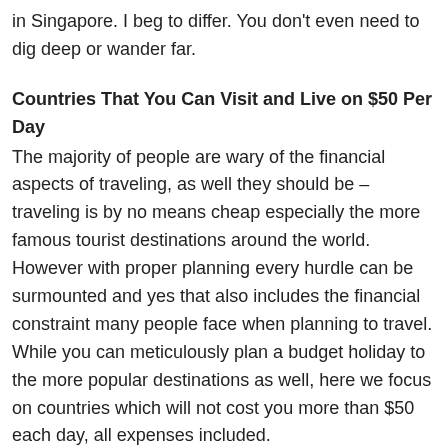in Singapore. I beg to differ. You don't even need to dig deep or wander far.
Countries That You Can Visit and Live on $50 Per Day
The majority of people are wary of the financial aspects of traveling, as well they should be – traveling is by no means cheap especially the more famous tourist destinations around the world. However with proper planning every hurdle can be surmounted and yes that also includes the financial constraint many people face when planning to travel. While you can meticulously plan a budget holiday to the more popular destinations as well, here we focus on countries which will not cost you more than $50 each day, all expenses included.
Adelaide Food Market
With its fresh food and bustling atmosphere, the Adelaide